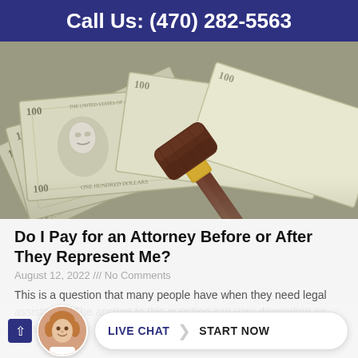Call Us: (470) 282-5563
[Figure (photo): Photo of US hundred dollar bills fanned out with a wooden judge's gavel resting on top, gold band visible on gavel head]
Do I Pay for an Attorney Before or After They Represent Me?
August 12, 2022 /// No Comments
This is a question that many people have when they need legal assistance. The answer to this question can vary depending on the situ... b... c... er fee
[Figure (screenshot): Live chat widget with avatar of a woman and a button reading LIVE CHAT > START NOW]